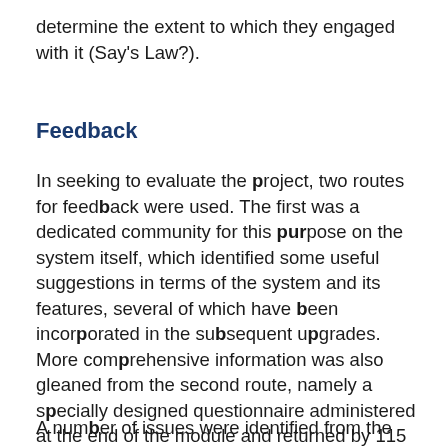determine the extent to which they engaged with it (Say's Law?).
Feedback
In seeking to evaluate the project, two routes for feedback were used. The first was a dedicated community for this purpose on the system itself, which identified some useful suggestions in terms of the system and its features, several of which have been incorporated in the subsequent upgrades. More comprehensive information was also gleaned from the second route, namely a specially designed questionnaire administered at the end of the module and returned by 115 students (a 32% response rate) note 4.
A number of issues were identified from the survey